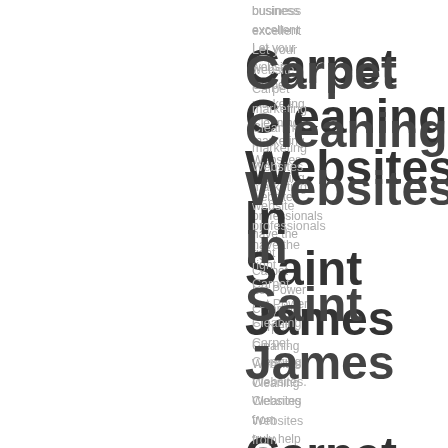business excellent Let your website Carpet marketing Cleaning marketing Websites marketing website professionals have the right Carpet Let Power Cleaning Carpet Cleaning Websites. Cleaning Websites from truly help you achieve a Cleaning Let Power Websites. Carpet Cleaning Websites with
Carpet Cleaning Websites In Saint James Carpet Cleaning Websites In Saint Leonard Carpet Cleaning Websites In